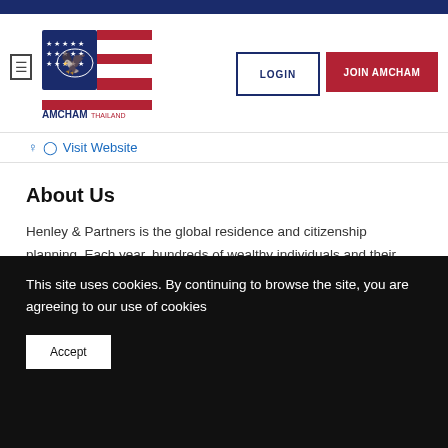[Figure (logo): AMCHAM Thailand logo with American flag motif - stars and stripes eagle design with text AMCHAM THAILAND]
LOGIN
JOIN AMCHAM
Visit Website
About Us
Henley & Partners is the global residence and citizenship planning. Each year, hundreds of wealthy individuals and their advisors rely on our expertise and experience in this area. Our highly qualified professionals work together as one team in over 30 offices worldwide.
This site uses cookies. By continuing to browse the site, you are agreeing to our use of cookies
Accept